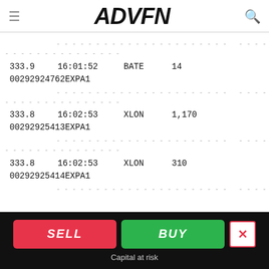ADVFN
| Price | Time | Venue | Volume | ID |
| --- | --- | --- | --- | --- |
| 333.9 | 16:01:52 | BATE | 14 | 00292924762EXPA1 |
| 333.8 | 16:02:53 | XLON | 1,170 | 00292925413EXPA1 |
| 333.8 | 16:02:53 | XLON | 310 | 00292925414EXPA1 |
SELL  BUY  Capital at risk